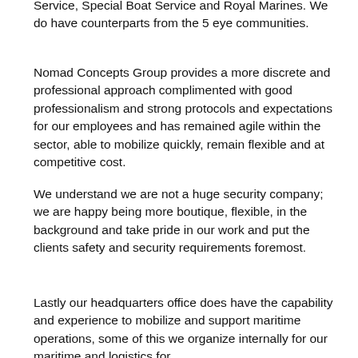Service, Special Boat Service and Royal Marines. We do have counterparts from the 5 eye communities.
Nomad Concepts Group provides a more discrete and professional approach complimented with good professionalism and strong protocols and expectations for our employees and has remained agile within the sector, able to mobilize quickly, remain flexible and at competitive cost.
We understand we are not a huge security company; we are happy being more boutique, flexible, in the background and take pride in our work and put the clients safety and security requirements foremost.
Lastly our headquarters office does have the capability and experience to mobilize and support maritime operations, some of this we organize internally for our maritime and logistics for...